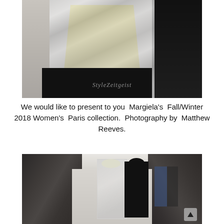[Figure (photo): Close-up fashion runway photo showing a model wearing an iridescent/transparent plastic coat over a yellow fringed garment with a black panel on the right, against a grey background. StyleZeitgeist watermark visible.]
We would like to present to you  Margiela's  Fall/Winter 2018 Women's  Paris collection.  Photography by  Matthew Reeves.
[Figure (photo): Runway show photo of Margiela Fall/Winter 2018 Women's Paris collection. Models walking on white runway with audience seated on both sides. Front model wears transparent/plastic top, second model in black. An up-arrow icon visible in bottom right corner.]